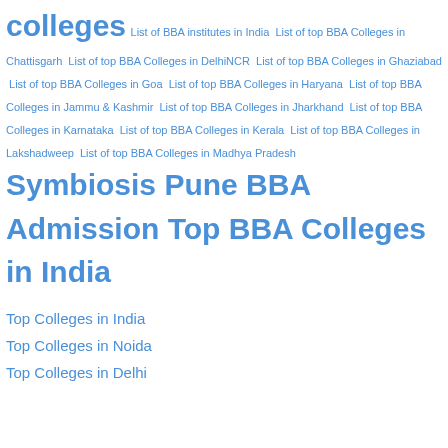colleges List of BBA institutes in India List of top BBA Colleges in Chattisgarh List of top BBA Colleges in DelhiNCR List of top BBA Colleges in Ghaziabad List of top BBA Colleges in Goa List of top BBA Colleges in Haryana List of top BBA Colleges in Jammu & Kashmir List of top BBA Colleges in Jharkhand List of top BBA Colleges in Karnataka List of top BBA Colleges in Kerala List of top BBA Colleges in Lakshadweep List of top BBA Colleges in Madhya Pradesh Symbiosis Pune BBA Admission Top BBA Colleges in India
Top Colleges in India
Top Colleges in Noida
Top Colleges in Delhi